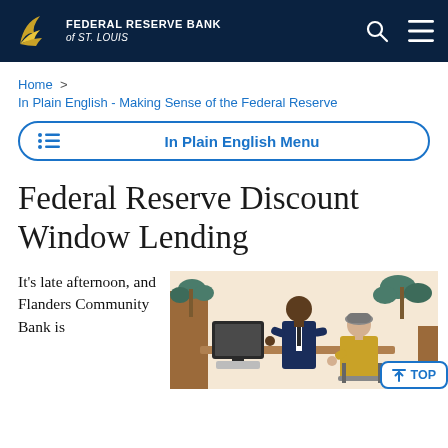FEDERAL RESERVE BANK of ST. LOUIS
Home > In Plain English - Making Sense of the Federal Reserve
In Plain English Menu
Federal Reserve Discount Window Lending
It's late afternoon, and Flanders Community Bank is
[Figure (illustration): Illustration of a bank teller (man in suit) speaking with an elderly female customer at a bank desk, with plants and warm office decor in the background.]